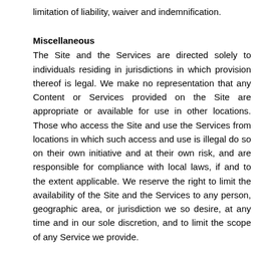limitation of liability, waiver and indemnification.
Miscellaneous
The Site and the Services are directed solely to individuals residing in jurisdictions in which provision thereof is legal. We make no representation that any Content or Services provided on the Site are appropriate or available for use in other locations. Those who access the Site and use the Services from locations in which such access and use is illegal do so on their own initiative and at their own risk, and are responsible for compliance with local laws, if and to the extent applicable. We reserve the right to limit the availability of the Site and the Services to any person, geographic area, or jurisdiction we so desire, at any time and in our sole discretion, and to limit the scope of any Service we provide.